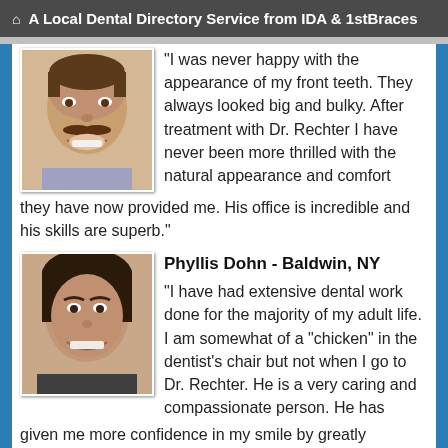A Local Dental Directory Service from IDA & 1stBraces
[Figure (photo): Photo of a middle-aged man with a mustache smiling, showing teeth]
"I was never happy with the appearance of my front teeth. They always looked big and bulky. After treatment with Dr. Rechter I have never been more thrilled with the natural appearance and comfort they have now provided me. His office is incredible and his skills are superb."
Phyllis Dohn - Baldwin, NY
[Figure (photo): Photo of a middle-aged woman smiling, showing teeth]
"I have had extensive dental work done for the majority of my adult life. I am somewhat of a "chicken" in the dentist's chair but not when I go to Dr. Rechter. He is a very caring and compassionate person. He has given me more confidence in my smile by greatly improving the appearance of my teeth. He does fabulous cosmetic and crown and bridge work. The dental work is superb and the entire staff are consummate